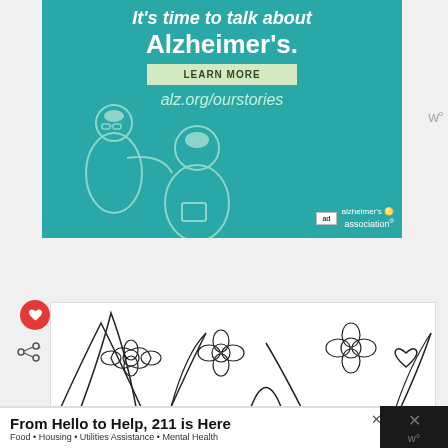[Figure (illustration): Alzheimer's Association advertisement banner with teal background. Shows two illustrated people (elderly man and younger person), text 'It's time to talk about Alzheimer's.', a LEARN MORE button, URL alz.org/ourstories, and the Alzheimer's Association logo.]
[Figure (illustration): Partial view of a coloring-book style floral/botanical illustration with line-art flowers and leaves, black on white background. Red heart button and share button visible on left side.]
From Hello to Help, 211 is Here
Food • Housing • Utilities Assistance • Mental Health